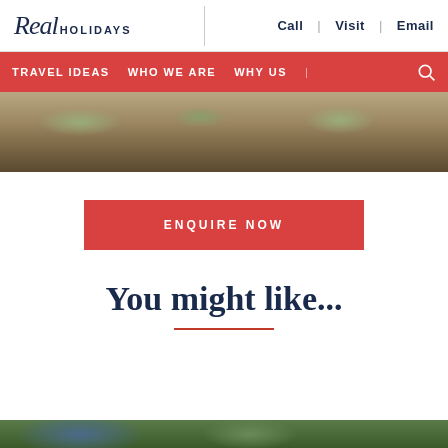Real HOLIDAYS | Call | Visit | Email
TRAVEL IDEAS | WHO WE ARE | WHY US
[Figure (photo): Outdoor landscape photo showing dry rocky ground with sparse vegetation, part of a travel/holiday website hero image]
ENQUIRE NOW
You might like...
[Figure (photo): Bottom strip of a landscape photo, partially visible]